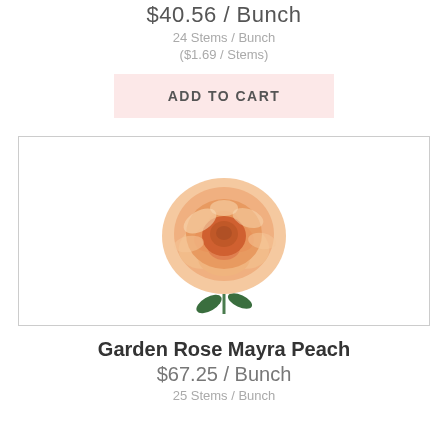$40.56 / Bunch
24 Stems / Bunch
($1.69 / Stems)
ADD TO CART
[Figure (photo): A peach/orange garden rose with green leaves on a white background, inside a bordered rectangle]
Garden Rose Mayra Peach
$67.25 / Bunch
25 Stems / Bunch